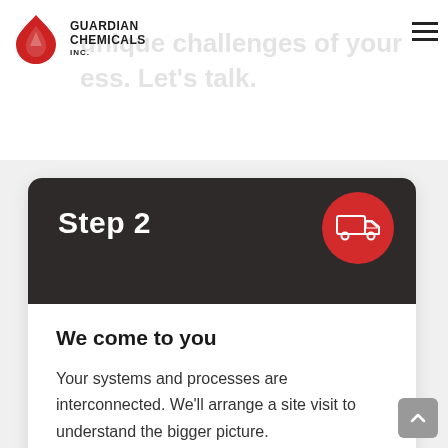[Figure (logo): Guardian Chemicals Inc. logo with red flame/drop icon and text 'GUARDIAN CHEMICALS INC.']
unique challenges of your process. Let's talk.
Step 2
We come to you
Your systems and processes are interconnected. We'll arrange a site visit to understand the bigger picture.